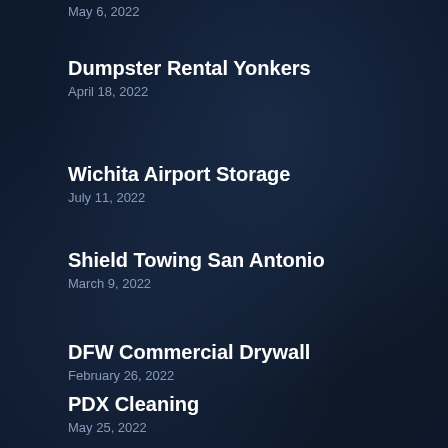May 6, 2022
Dumpster Rental Yonkers
April 18, 2022
Wichita Airport Storage
July 11, 2022
Shield Towing San Antonio
March 9, 2022
DFW Commercial Drywall
February 26, 2022
PDX Cleaning
May 25, 2022